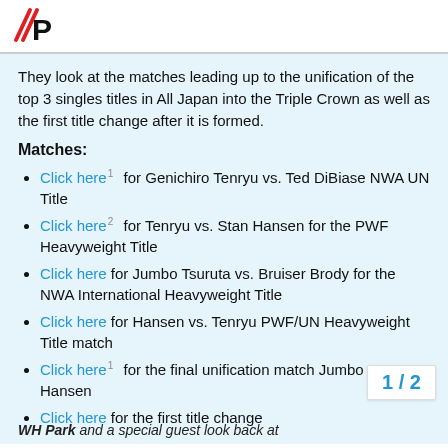They look at the matches leading up to the unification of the top 3 singles titles in All Japan into the Triple Crown as well as the first title change after it is formed.
Matches:
Click here [1] for Genichiro Tenryu vs. Ted DiBiase NWA UN Title
Click here [2] for Tenryu vs. Stan Hansen for the PWF Heavyweight Title
Click here for Jumbo Tsuruta vs. Bruiser Brody for the NWA International Heavyweight Title
Click here for Hansen vs. Tenryu PWF/UN Heavyweight Title match
Click here [1] for the final unification match Jumbo vs. Hansen
Click here for the first title change
1 / 2
WH Park and a special guest look back at